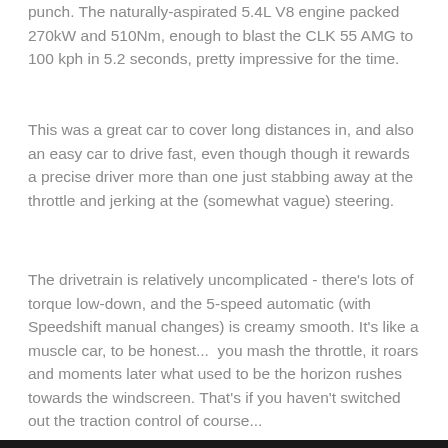punch. The naturally-aspirated 5.4L V8 engine packed 270kW and 510Nm, enough to blast the CLK 55 AMG to 100 kph in 5.2 seconds, pretty impressive for the time.
This was a great car to cover long distances in, and also an easy car to drive fast, even though though it rewards a precise driver more than one just stabbing away at the throttle and jerking at the (somewhat vague) steering.
The drivetrain is relatively uncomplicated - there's lots of torque low-down, and the 5-speed automatic (with Speedshift manual changes) is creamy smooth. It's like a muscle car, to be honest...  you mash the throttle, it roars and moments later what used to be the horizon rushes towards the windscreen. That's if you haven't switched out the traction control of course...